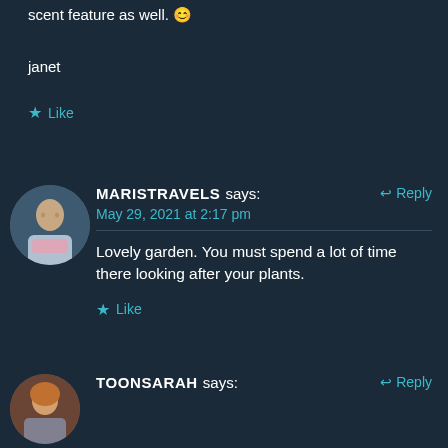scent feature as well. 😊
janet
★ Like
MARISTRAVELS says:
May 29, 2021 at 2:17 pm
↩ Reply
Lovely garden. You must spend a lot of time there looking after your plants.
★ Like
TOONSARAH says:
↩ Reply